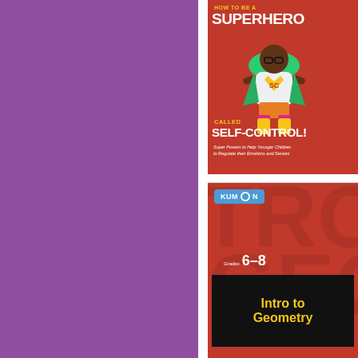[Figure (illustration): Purple/violet solid color panel occupying the left half of the page]
[Figure (illustration): Book cover: 'How to be a Superhero Called Self-Control!' with red background, cartoon child superhero figure wearing SC logo costume, yellow and white text. Subtitle: Super Powers to Help Younger Children to Regulate their Emotions and Senses]
[Figure (illustration): Book cover: Kumon Grades 6-8 Intro to Geometry, red background with large geometric letter shapes, blue Kumon badge, yellow text 'Intro to Geometry' on black box]